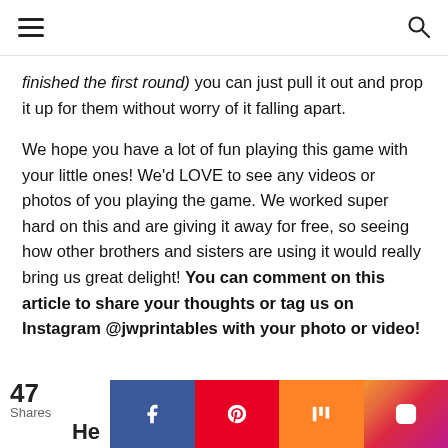≡  🔍
finished the first round) you can just pull it out and prop it up for them without worry of it falling apart.

We hope you have a lot of fun playing this game with your little ones! We'd LOVE to see any videos or photos of you playing the game. We worked super hard on this and are giving it away for free, so seeing how other brothers and sisters are using it would really bring us great delight! You can comment on this article to share your thoughts or tag us on Instagram @jwprintables with your photo or video!
47 Shares